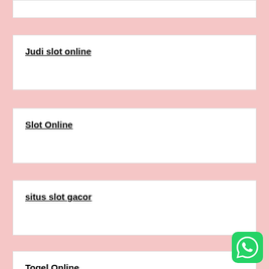Judi slot online
Slot Online
situs slot gacor
Togel Online
situs judi online
[Figure (logo): WhatsApp green chat button icon]